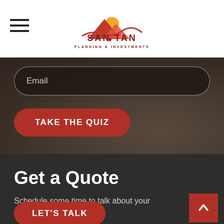[Figure (logo): San Tan Planning & Investments logo with mountain/sun graphic in red and orange above the company name in dark red/maroon text]
[Figure (screenshot): Email input field with rounded dark box on blurred desk background photo]
TAKE THE QUIZ
Get a Quote
Schedule some time to talk about your financial needs.
LET'S TALK